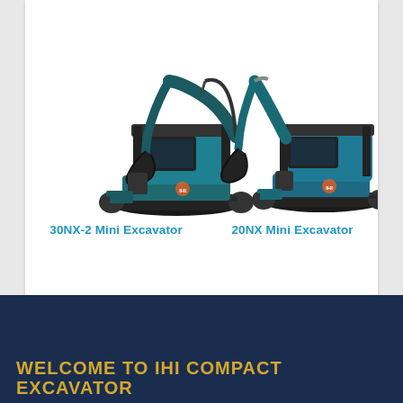[Figure (photo): Two IHI mini excavators side by side: 30NX-2 Mini Excavator on the left and 20NX Mini Excavator on the right, both teal/blue colored with black tracks and cabs]
30NX-2 Mini Excavator    20NX Mini Excavator
WELCOME TO IHI COMPACT EXCAVATOR